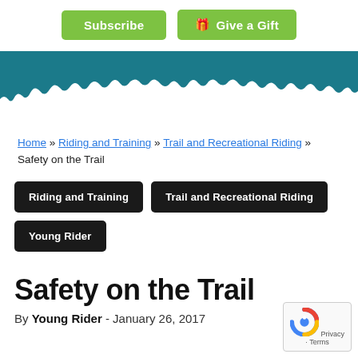Subscribe | Give a Gift
[Figure (illustration): Teal banner with torn paper edge effect at bottom]
Home » Riding and Training » Trail and Recreational Riding » Safety on the Trail
Riding and Training
Trail and Recreational Riding
Young Rider
Safety on the Trail
By Young Rider - January 26, 2017